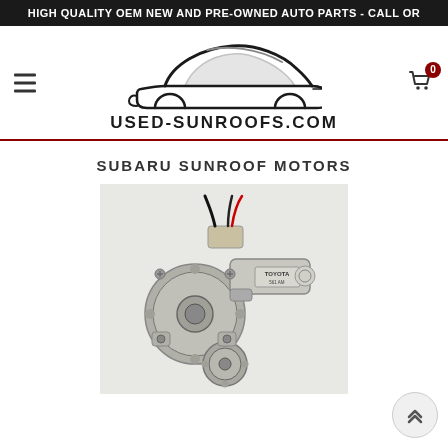HIGH QUALITY OEM NEW AND PRE-OWNED AUTO PARTS - CALL OR
[Figure (logo): Used-Sunroofs.com website logo with stylized car silhouette above the text USED-SUNROOFS.COM]
SUBARU SUNROOF MOTORS
[Figure (photo): Photo of a sunroof motor — a silver/grey metal gear motor assembly with a Toyota label on the cylindrical motor body, wiring connector on top, gears and mounting flanges visible. Photographed on a white background.]